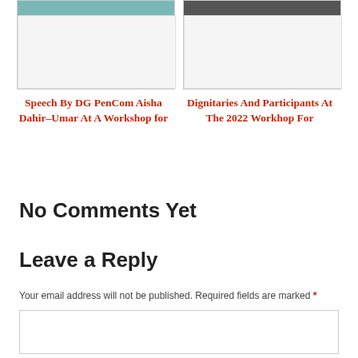[Figure (photo): Photo card with teal/green image at top and gray placeholder box below]
Speech By DG PenCom Aisha Dahir–Umar At A Workshop for
[Figure (photo): Photo card with dark group photo at top and gray placeholder box below]
Dignitaries And Participants At The 2022 Workhop For
No Comments Yet
Leave a Reply
Your email address will not be published. Required fields are marked *